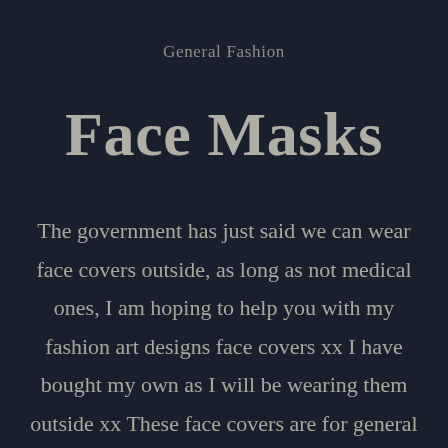General Fashion
Face Masks
The government has just said we can wear face covers outside, as long as not medical ones, I am hoping to help you with my fashion art designs face covers xx I have bought my own as I will be wearing them outside xx These face covers are for general use only, not medical grade! See my FAQ on my website in the